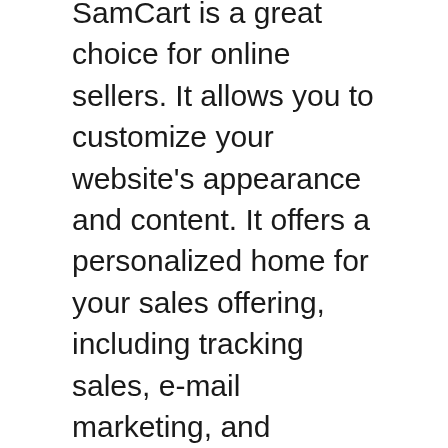SamCart is a great choice for online sellers. It allows you to customize your website's appearance and content. It offers a personalized home for your sales offering, including tracking sales, e-mail marketing, and product delivery. SamCart works with all types of ecommerce websites and offers advanced functionality for all types of online businesses. You can even use it to run an affiliate program! SamCart's flexibility and adaptive features are the best in the industry.
SamCart allows you to test product prices using AB tests. While most checkout software requires you to publish your page before you can test its functionality, SamCart allows you to run test sales funnels and